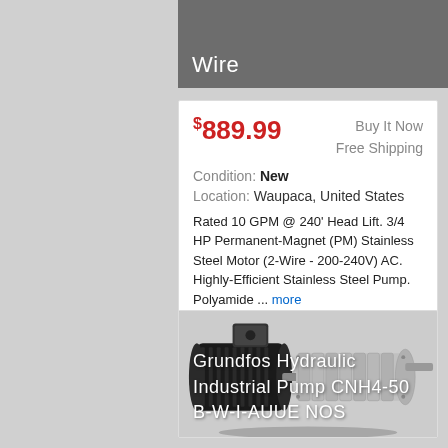Wire
$889.99
Buy It Now
Free Shipping
Condition: New
Location: Waupaca, United States
Rated 10 GPM @ 240' Head Lift. 3/4 HP Permanent-Magnet (PM) Stainless Steel Motor (2-Wire - 200-240V) AC. Highly-Efficient Stainless Steel Pump. Polyamide ... more
[Figure (photo): Grundfos Hydraulic Industrial Pump CNH4-50 B-W-I-AUUE NOS — a multi-stage centrifugal pump with black motor housing on the left and stainless steel pump body on the right, displayed on a light gray background.]